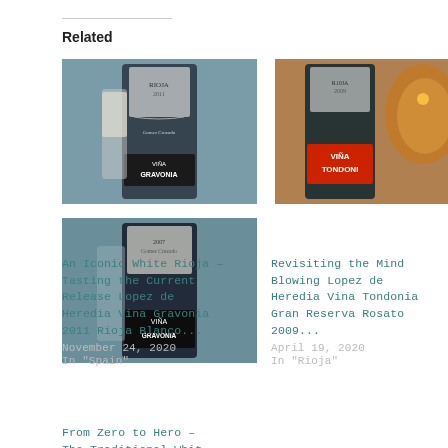Related
[Figure (photo): Wine bottle photo - An Iconic White Rioja - Lopez de Heredia Vina Gravonia 2011]
An Iconic White Rioja – Tasting the Current Release Lopez de Heredia Vina Gravonia 2011 Rioja Blanco...
November 24, 2020
In "Spain"
[Figure (photo): Wine bottle photo - Revisiting the Mind Blowing Lopez de Heredia Vina Tondonia Gran Reserva Rosato 2009]
Revisiting the Mind Blowing Lopez de Heredia Vina Tondonia Gran Reserva Rosato 2009...
April 19, 2020
In "Rioja"
[Figure (photo): Wine bottle photo - From Zero to Hero – The Traditional White...]
From Zero to Hero – The Traditional White...